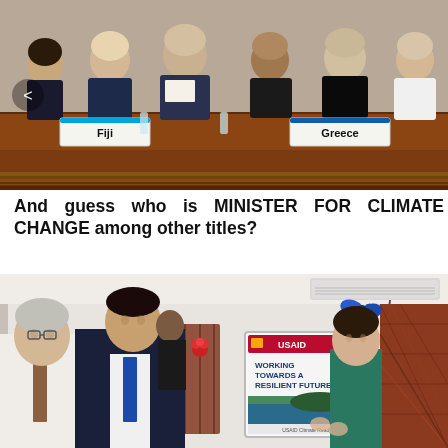[Figure (photo): A conference room scene showing delegates seated at a long table. Nameplates visible for 'Fiji' and 'Greece'. Several men in suits are present. A navigation arrow is visible on the left side.]
And guess who is MINISTER FOR CLIMATE CHANGE among other titles?
[Figure (photo): Three people standing in an office or building lobby. An older man in white shirt and tie on the left, a younger man in dark suit with blue tie in the center, and a woman in teal/green top on the right. They appear to be unveiling a USAID plaque/poster on the wall that reads 'WORKING TOWARDS A RESILIENT FUTURE'. Blue ribbon decorations are visible. Traditional patterned fabric is on the right side.]